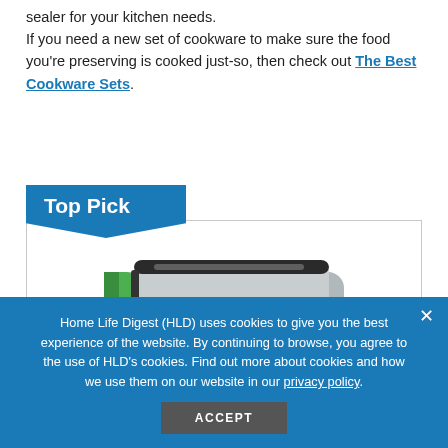sealer for your kitchen needs.
If you need a new set of cookware to make sure the food you're preserving is cooked just-so, then check out The Best Cookware Sets.
Top Pick
[Figure (photo): Photo of a vacuum food sealer device, silver/gray body with green accents, viewed from above at an angle, showing control buttons along the front edge.]
Home Life Digest (HLD) uses cookies to give you the best experience of the website. By continuing to browse, you agree to the use of HLD's cookies. Find out more about cookies and how we use them on our website in our privacy policy.
ACCEPT